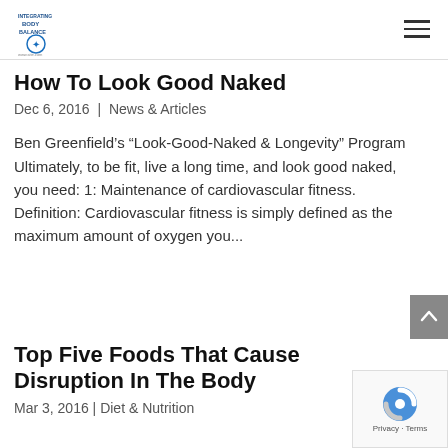Integrating Body Balance — navigation header with logo and hamburger menu
How To Look Good Naked
Dec 6, 2016 | News & Articles
Ben Greenfield's “Look-Good-Naked & Longevity” Program   Ultimately, to be fit, live a long time, and look good naked, you need: 1: Maintenance of cardiovascular fitness. Definition: Cardiovascular fitness is simply defined as the maximum amount of oxygen you...
Top Five Foods That Cause Disruption In The Body
Mar 3, 2016 | Diet & Nutrition